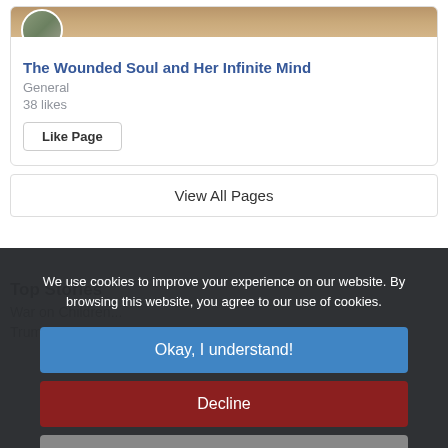The Wounded Soul and Her Infinite Mind
General
38 likes
Like Page
View All Pages
We use cookies to improve your experience on our website. By browsing this website, you agree to our use of cookies.
Okay, I understand!
Decline
More Info
Top Stories
War on Children...
Trump Wont